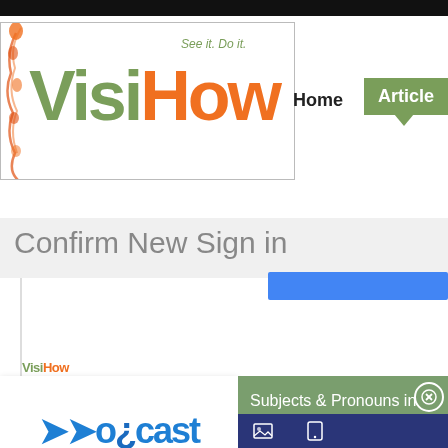[Figure (screenshot): VisiHow website screenshot showing logo with 'See it. Do it.' tagline, navigation with Home and Articles buttons, a 'Confirm New Sign in' heading, a partial blue button, a Howcast original logo card, a 'Subjects & Pronouns in English' card with close button, and a blue bottom bar]
Confirm New Sign in
Subjects & Pronouns in English